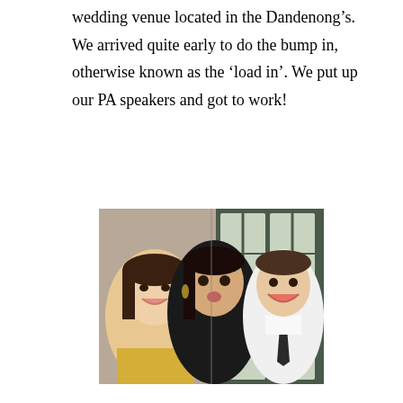wedding venue located in the Dandenong's. We arrived quite early to do the bump in, otherwise known as the ‘load in’. We put up our PA speakers and got to work!
[Figure (photo): A selfie photo of three people smiling at a wedding event. On the left is a young woman in a sparkly/sequined outfit. In the middle is a woman with dark hair wearing a black top. On the right is a man in a white shirt with a tie, smiling with an excited expression. The background shows large windows.]